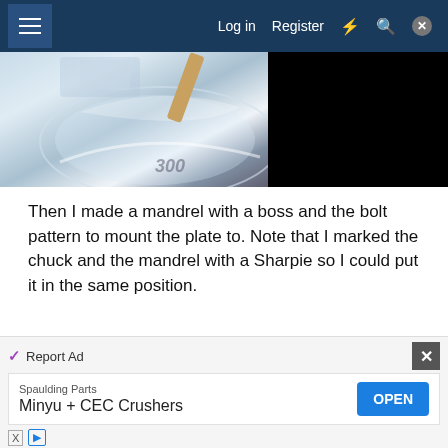Log in  Register
[Figure (photo): Two-part image: left shows metallic bowl/mandrel on lathe with shiny reflective surface and some text; right side is black (dark/unlit area)]
Then I made a mandrel with a boss and the bolt pattern to mount the plate to. Note that I marked the chuck and the mandrel with a Sharpie so I could put it in the same position.
[Figure (photo): Partially visible photo showing a dark metallic machine setup, bottom portion of a lathe or machining tool]
Report Ad
Spaulding Parts
Minyu + CEC Crushers
OPEN